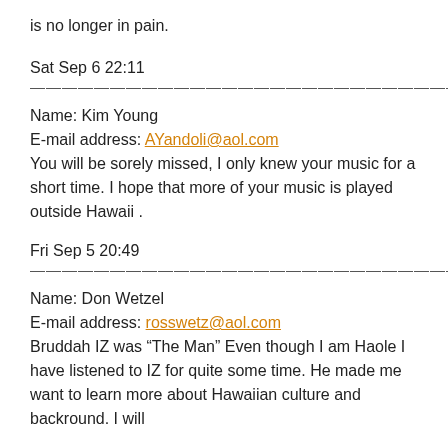is no longer in pain.
Sat Sep 6 22:11
————————————————————————————————————
Name: Kim Young
E-mail address: AYandoli@aol.com
You will be sorely missed, I only knew your music for a short time. I hope that more of your music is played outside Hawaii .
Fri Sep 5 20:49
————————————————————————————————————
Name: Don Wetzel
E-mail address: rosswetz@aol.com
Bruddah IZ was “The Man” Even though I am Haole I have listened to IZ for quite some time. He made me want to learn more about Hawaiian culture and backround. I will